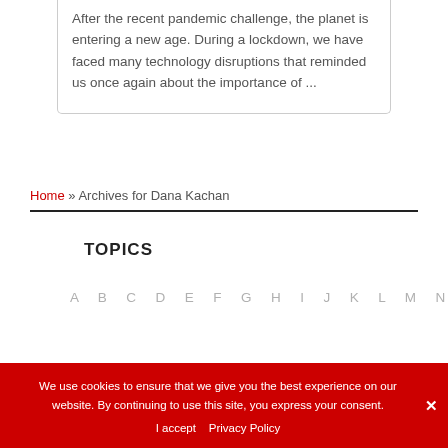After the recent pandemic challenge, the planet is entering a new age. During a lockdown, we have faced many technology disruptions that reminded us once again about the importance of ...
Home » Archives for Dana Kachan
TOPICS
A B C D E F G H I J K L M N
We use cookies to ensure that we give you the best experience on our website. By continuing to use this site, you express your consent.
I accept   Privacy Policy